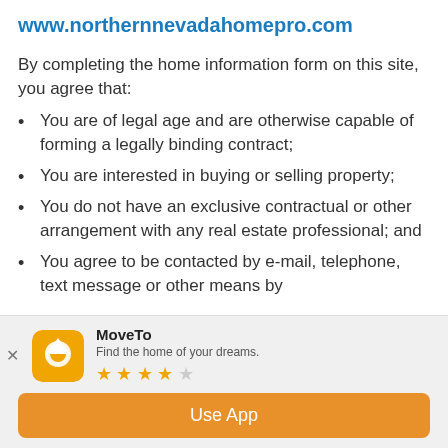www.northernnevadahomepro.com
By completing the home information form on this site, you agree that:
You are of legal age and are otherwise capable of forming a legally binding contract;
You are interested in buying or selling property;
You do not have an exclusive contractual or other arrangement with any real estate professional; and
You agree to be contacted by e-mail, telephone, text message or other means by
www.northernnevadahomepro.com or a
[Figure (screenshot): MoveTo app install banner with orange house icon, app name 'MoveTo', tagline 'Find the home of your dreams.', 4-star rating, and 'Use App' orange button]
MoveTo – Find the home of your dreams. 4 stars. Use App